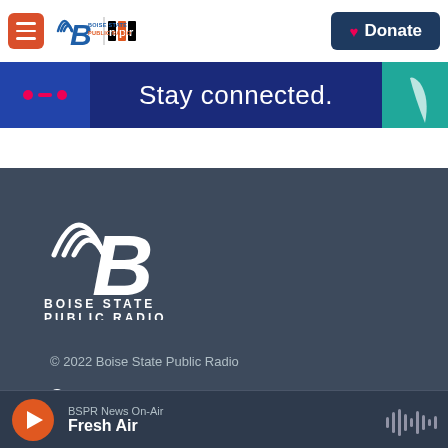Boise State Public Radio | NPR — Donate
[Figure (infographic): Stay connected. banner with radio icon dots and dash decoration on dark blue background with teal accent on right]
[Figure (logo): Boise State Public Radio white logo on dark blue-gray footer background, large italic B with radio waves]
© 2022 Boise State Public Radio
Contact
About
BSPR News On-Air — Fresh Air (player bar)